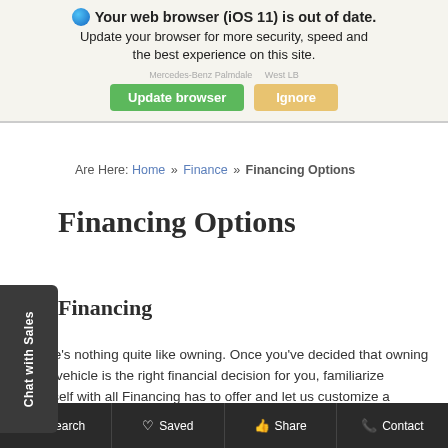[Figure (screenshot): Browser update notification banner with globe icon, bold title 'Your web browser (iOS 11) is out of date.', subtitle text, and two buttons: 'Update browser' (green) and 'Ignore' (tan/gold).]
Are Here: Home » Finance » Financing Options
Financing Options
Financing
There's nothing quite like owning. Once you've decided that owning your vehicle is the right financial decision for you, familiarize yourself with all Financing has to offer and let us customize a financing plan that works for you. Because we
Search   Saved   Share   Contact